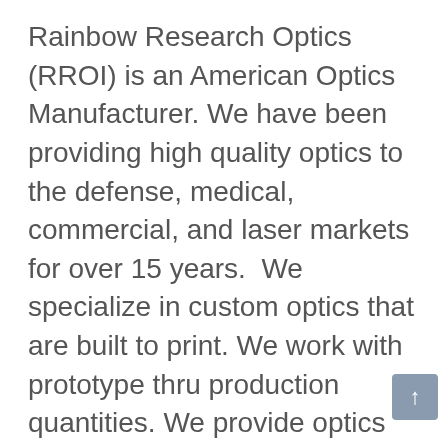Rainbow Research Optics (RROI) is an American Optics Manufacturer. We have been providing high quality optics to the defense, medical, commercial, and laser markets for over 15 years.  We specialize in custom optics that are built to print. We work with prototype thru production quantities. We provide optics with extreme precision and custom coatings. In addition to general optics like spherical lenses, mirrors, windows, and prisms, we also specialize in other optical products such as wave plates, Beam splitter cubes, high damage coatings, and thin film polarizers.  Please visit our website at www.rainbowoptics.com for more information